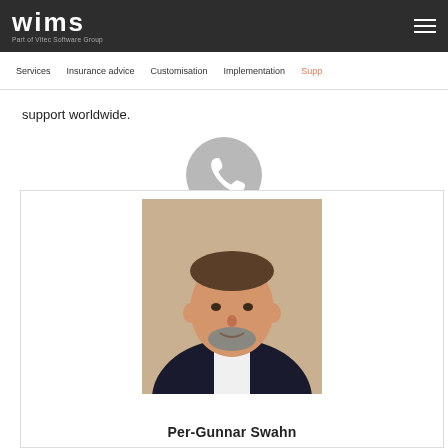wims - Part of Vitec Software Group
support worldwide.
[Figure (illustration): Phone/call icon — grey circle with white telephone handset symbol]
[Figure (photo): Professional headshot of Per-Gunnar Swahn, a man in a dark suit with a white shirt, grey beard]
Per-Gunnar Swahn